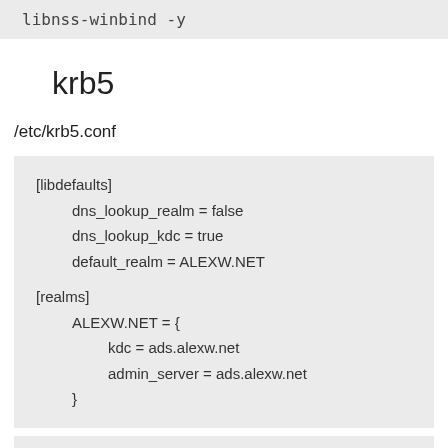libnss-winbind -y
krb5
/etc/krb5.conf
[libdefaults]
    dns_lookup_realm = false
    dns_lookup_kdc = true
    default_realm = ALEXW.NET

[realms]
    ALEXW.NET = {
        kdc = ads.alexw.net
        admin_server = ads.alexw.net
    }